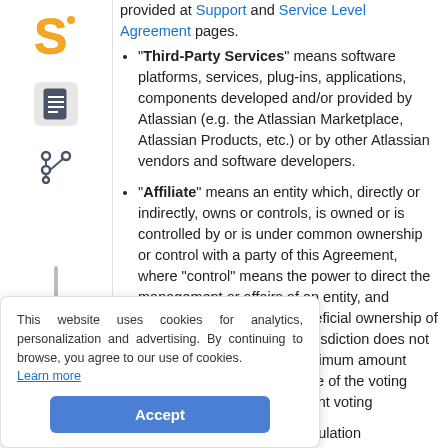provided at Support and Service Level Agreement pages.
"Third-Party Services" means software platforms, services, plug-ins, applications, components developed and/or provided by Atlassian (e.g. the Atlassian Marketplace, Atlassian Products, etc.) or by other Atlassian vendors and software developers.
"Affiliate" means an entity which, directly or indirectly, owns or controls, is owned or is controlled by or is under common ownership or control with a party of this Agreement, where "control" means the power to direct the management or affairs of an entity, and "ownership" means the beneficial ownership of 50% (or, if the applicable jurisdiction does not …maximum amount …more of the voting …valent voting
i) categories of data n Regulation 2016/679, Article 9(1) or any successor legislation:
This website uses cookies for analytics, personalization and advertising. By continuing to browse, you agree to our use of cookies. Learn more
Accept